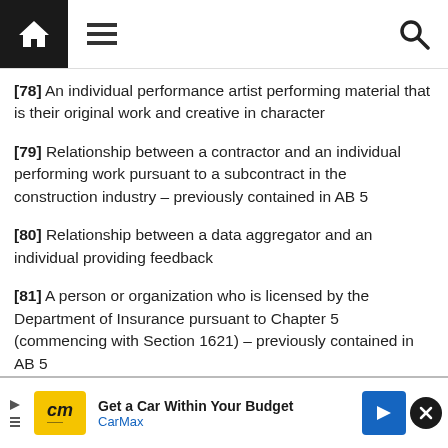Navigation bar with home, menu, and search icons
[78] An individual performance artist performing material that is their original work and creative in character
[79] Relationship between a contractor and an individual performing work pursuant to a subcontract in the construction industry – previously contained in AB 5
[80] Relationship between a data aggregator and an individual providing feedback
[81] A person or organization who is licensed by the Department of Insurance pursuant to Chapter 5 (commencing with Section 1621) – previously contained in AB 5
[82] A person or organization who is licensed by th...
[Figure (other): CarMax advertisement banner: Get a Car Within Your Budget]